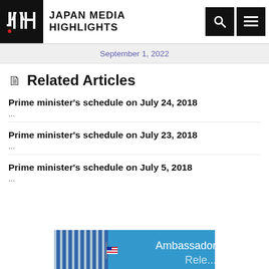Japan Media Highlights
September 1, 2022
Related Articles
Prime minister's schedule on July 24, 2018
...
Prime minister's schedule on July 23, 2018
...
Prime minister's schedule on July 5, 2018
...
[Figure (photo): Partial bottom image showing a building with stripes and an American flag, with overlaid text reading 'Ambassador' and partially visible second line]